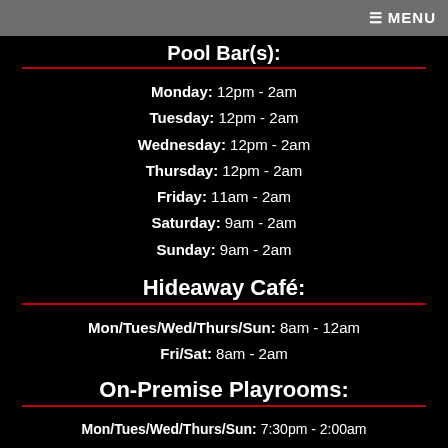☰ MENU
Pool Bar(s):
Monday: 12pm - 2am
Tuesday: 12pm - 2am
Wednesday: 12pm - 2am
Thursday: 12pm - 2am
Friday: 11am - 2am
Saturday: 9am - 2am
Sunday: 9am - 2am
Hideaway Café:
Mon/Tues/Wed/Thurs/Sun: 8am - 12am
Fri/Sat: 8am - 2am
On-Premise Playrooms:
Mon/Tues/Wed/Thurs/Sun: 7:30pm - 2:00am